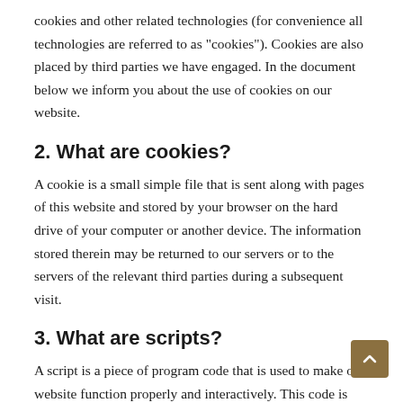cookies and other related technologies (for convenience all technologies are referred to as "cookies"). Cookies are also placed by third parties we have engaged. In the document below we inform you about the use of cookies on our website.
2. What are cookies?
A cookie is a small simple file that is sent along with pages of this website and stored by your browser on the hard drive of your computer or another device. The information stored therein may be returned to our servers or to the servers of the relevant third parties during a subsequent visit.
3. What are scripts?
A script is a piece of program code that is used to make our website function properly and interactively. This code is executed on our server or on your device.